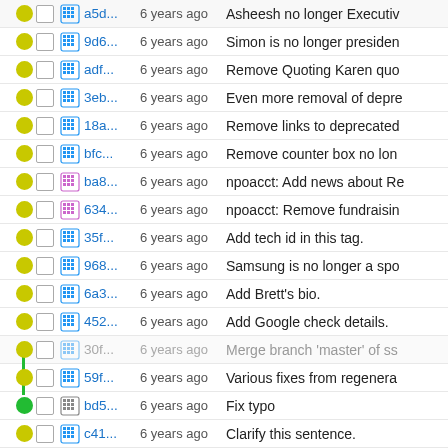a5d... 6 years ago Asheesh no longer Executiv
9d6... 6 years ago Simon is no longer presiden
adf... 6 years ago Remove Quoting Karen quo
3eb... 6 years ago Even more removal of depre
18a... 6 years ago Remove links to deprecated
bfc... 6 years ago Remove counter box no lon
ba8... 6 years ago npoacct: Add news about Re
634... 6 years ago npoacct: Remove fundraisin
35f... 6 years ago Add tech id in this tag.
968... 6 years ago Samsung is no longer a spo
6a3... 6 years ago Add Brett's bio.
452... 6 years ago Add Google check details.
30f... 6 years ago Merge branch 'master' of ss
59f... 6 years ago Various fixes from regenera
bd5... 6 years ago Fix typo
c41... 6 years ago Clarify this sentence.
73f... 6 years ago Shorten title.